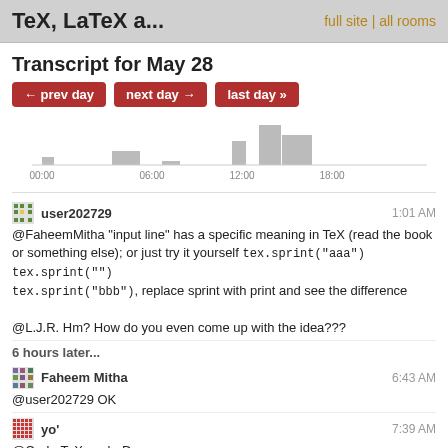TeX, LaTeX a...   full site | all rooms
Transcript for May 28
[Figure (bar-chart): Activity chart]
user202729  1:01 AM
@FaheemMitha "input line" has a specific meaning in TeX (read the book or something else); or just try it yourself tex.sprint("aaa") tex.sprint("") tex.sprint("bbb"), replace sprint with print and see the difference
@L.J.R. Hm? How do you even come up with the idea???
6 hours later...
Faheem Mitha  6:43 AM
@user202729 OK
yo'  7:39 AM
@CarLaTeX cool :-D
@CarLaTeX mischief managed :)
CarLaTeX  8:38 AM
@yo' the stain is a reflection